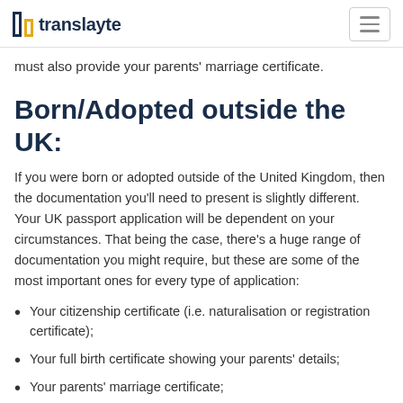translayte
must also provide your parents' marriage certificate.
Born/Adopted outside the UK:
If you were born or adopted outside of the United Kingdom, then the documentation you'll need to present is slightly different. Your UK passport application will be dependent on your circumstances. That being the case, there's a huge range of documentation you might require, but these are some of the most important ones for every type of application:
Your citizenship certificate (i.e. naturalisation or registration certificate);
Your full birth certificate showing your parents' details;
Your parents' marriage certificate;
The passport you used to enter the UK.
If you were born or adopted outside of the UK, there's